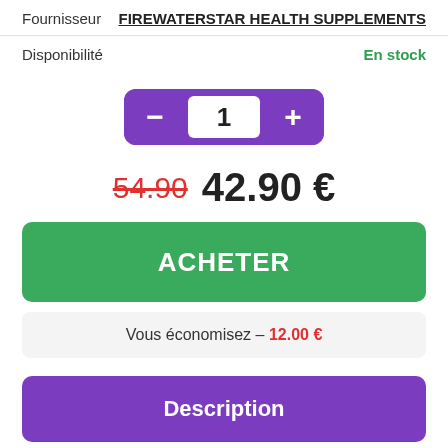Fournisseur: FIREWATERSTAR HEALTH SUPPLEMENTS
Disponibilité: En stock
1
54.90  42.90 €
ACHETER
Vous économisez – 12.00 €
Description